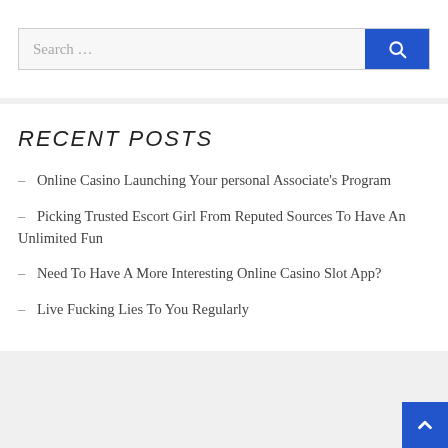[Figure (screenshot): Search bar with text 'Search ...' and a blue search button with magnifying glass icon]
RECENT POSTS
- Online Casino Launching Your personal Associate's Program
- Picking Trusted Escort Girl From Reputed Sources To Have An Unlimited Fun
- Need To Have A More Interesting Online Casino Slot App?
- Live Fucking Lies To You Regularly